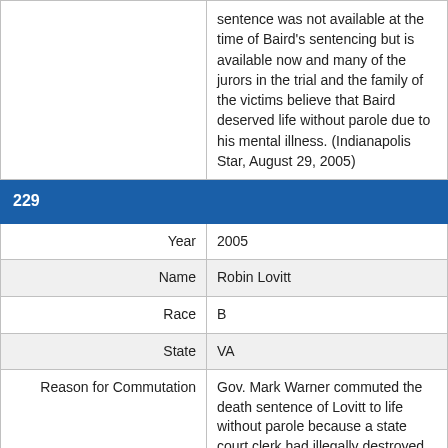| Field | Value |
| --- | --- |
|  | sentence was not available at the time of Baird's sentencing but is available now and many of the jurors in the trial and the family of the victims believe that Baird deserved life without parole due to his mental illness. (Indianapolis Star, August 29, 2005) |
| 229 |  |
| Year | 2005 |
| Name | Robin Lovitt |
| Race | B |
| State | VA |
| Reason for Commutation | Gov. Mark Warner commuted the death sentence of Lovitt to life without parole because a state court clerk had illegally destroyed evidence from Lovitt's trial that could have been used in his appeals. The governor believed a clemency was necessary to maintain the public's trust in the justice system. (Office of the |